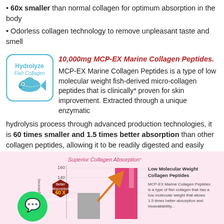60x smaller than normal collagen for optimum absorption in the body
Odorless collagen technology to remove unpleasant taste and smell
[Figure (logo): Hydrolyze Fish Collagen logo with fish icon in blue rounded square]
10,000mg MCP-EX Marine Collagen Peptides. MCP-EX Marine Collagen Peptides is a type of low molecular weight fish-derived micro-collagen peptides that is clinically* proven for skin improvement. Extracted through a unique enzymatic hydrolysis process through advanced production technologies, it is 60 times smaller and 1.5 times better absorption than other collagen peptides, allowing it to be readily digested and easily absorbed by the body, offering the best anti-ageing properties to rejuvenate skin.
[Figure (bar-chart): Bar chart showing superior collagen absorption with two bars (gray shorter, pink taller) and an orange arrow. Low Molecular Weight Collagen Peptides label with description text. WhatsApp icon and hexagon badge showing 60X smaller molecules.]